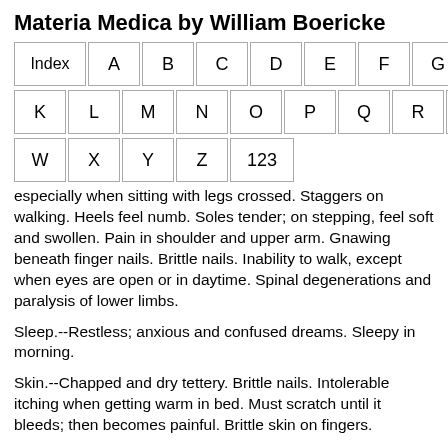Materia Medica by William Boericke
[Figure (other): Navigation index grid with letters: Index, A, B, C, D, E, F, G, H, I, J / K, L, M, N, O, P, Q, R, S, T, U, V / W, X, Y, Z, 123]
especially when sitting with legs crossed. Staggers on walking. Heels feel numb. Soles tender; on stepping, feel soft and swollen. Pain in shoulder and upper arm. Gnawing beneath finger nails. Brittle nails. Inability to walk, except when eyes are open or in daytime. Spinal degenerations and paralysis of lower limbs.
Sleep.--Restless; anxious and confused dreams. Sleepy in morning.
Skin.--Chapped and dry tettery. Brittle nails. Intolerable itching when getting warm in bed. Must scratch until it bleeds; then becomes painful. Brittle skin on fingers.